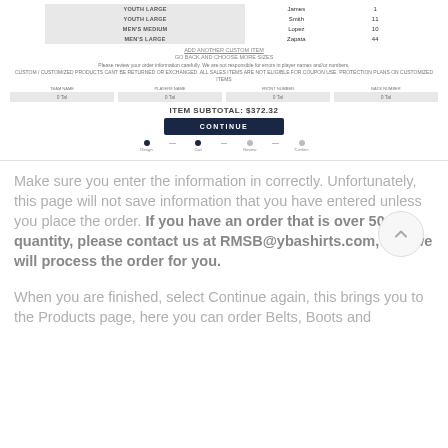[Figure (screenshot): Screenshot of an online order form showing a table with size/name/number rows (Youth Large - James 1, Youth Large - Smith 11, Men's Medium - Lopez 10, Men's Large - Zapata 44), links, notice text, customization fields, item subtotal of $372.32, a Continue button, and a 4-step progress bar.]
Make sure you enter the information in correctly. Unfortunately, this page will not save information that you have entered unless you place the order. If you have an order that is over 50 in quantity, please contact us at RMSB@ybashirts.com, and we will process the order for you.
When you are finished, select Continue again, this brings you to the Products page, here you can order Belts, Boots and